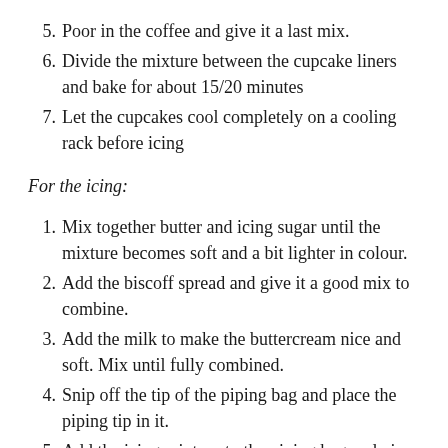5. Poor in the coffee and give it a last mix.
6. Divide the mixture between the cupcake liners and bake for about 15/20 minutes
7. Let the cupcakes cool completely on a cooling rack before icing
For the icing:
1. Mix together butter and icing sugar until the mixture becomes soft and a bit lighter in colour.
2. Add the biscoff spread and give it a good mix to combine.
3. Add the milk to make the buttercream nice and soft. Mix until fully combined.
4. Snip off the tip of the piping bag and place the piping tip in it.
5. Add the icing mixture to the piping bag and pipe